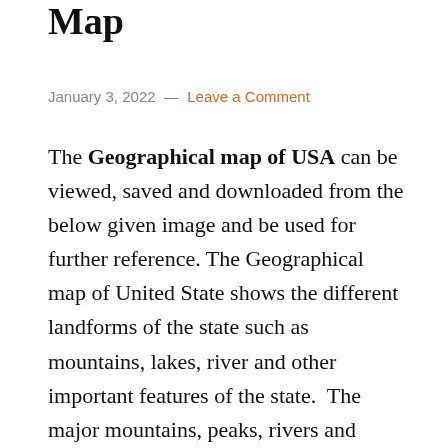Map
January 3, 2022 — Leave a Comment
The Geographical map of USA can be viewed, saved and downloaded from the below given image and be used for further reference. The Geographical map of United State shows the different landforms of the state such as mountains, lakes, river and other important features of the state. The major mountains, peaks, rivers and important features have been shown in the image and are used by the citizens of the United state and is helpful in travelling purpose as it depicts the major features of the state. The geographic map of